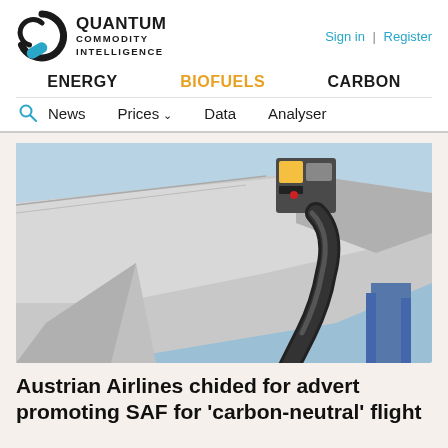QUANTUM COMMODITY INTELLIGENCE | Sign in | Register
ENERGY   BIOFUELS   CARBON
News   Prices   Data   Analyser
[Figure (photo): Close-up photograph of a fuel hose connected to an aircraft wing refueling port, with a blue sky in the background.]
Austrian Airlines chided for advert promoting SAF for 'carbon-neutral' flight